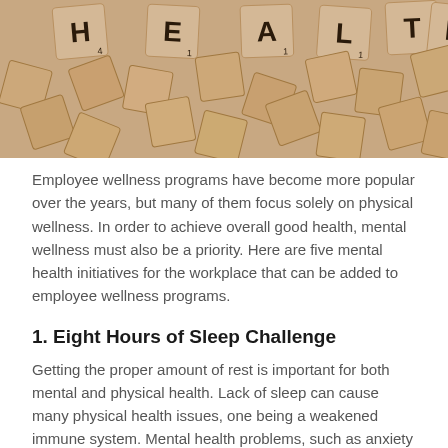[Figure (photo): Scrabble letter tiles scattered on a wooden surface spelling out HEALTH]
Employee wellness programs have become more popular over the years, but many of them focus solely on physical wellness. In order to achieve overall good health, mental wellness must also be a priority. Here are five mental health initiatives for the workplace that can be added to employee wellness programs.
1. Eight Hours of Sleep Challenge
Getting the proper amount of rest is important for both mental and physical health. Lack of sleep can cause many physical health issues, one being a weakened immune system. Mental health problems, such as anxiety and